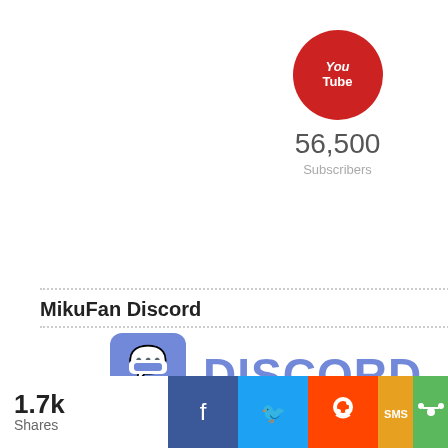[Figure (logo): YouTube logo circle (red) with 'You' and 'Tube' text in white]
56,500
Subscribers
MikuFan Discord
[Figure (logo): Discord logo: blue speech bubble icon with headset/gamepad symbol, followed by 'DISCORD' text in blue]
Partner Sites
[Figure (photo): Tokiko's Diary Sapporo banner with anime figure (Hatsune Miku nendoroid) on snowy background]
[Figure (photo): VocaDB banner with anime character with teal hair]
1.7k
Shares